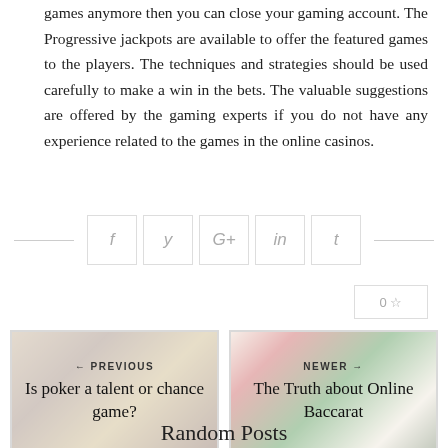games anymore then you can close your gaming account. The Progressive jackpots are available to offer the featured games to the players. The techniques and strategies should be used carefully to make a win in the bets. The valuable suggestions are offered by the gaming experts if you do not have any experience related to the games in the online casinos.
[Figure (other): Social media share buttons row: Facebook (f), Twitter (y), Google+ (G+), LinkedIn (in), Tumblr (t), flanked by horizontal lines]
[Figure (other): Star/rating button showing '0 ☆']
[Figure (other): Previous post navigation card with background image, label '← PREVIOUS', title 'Is poker a talent or chance game?']
[Figure (other): Newer post navigation card with background image, label 'NEWER →', title 'The Truth about Online Baccarat']
Random Posts